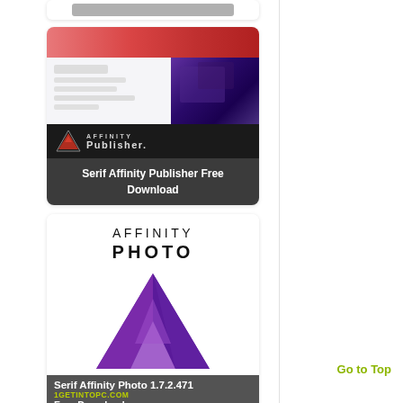[Figure (screenshot): Partial top card showing a grey/dark truncated card at the top of the page]
[Figure (screenshot): Affinity Publisher card with pink/red and dark blue design top, AFFINITY Publisher logo on dark background, with overlay text 'Serif Affinity Publisher Free Download']
[Figure (screenshot): Affinity Photo card with white background showing AFFINITY PHOTO text and purple triangular logo, with overlay text 'Serif Affinity Photo 1.7.2.471' and 'Free Download' from 1GetIntoPC.com]
Free Download
Serif Affinity Designer 1.8.0 Free Download
Serif Affinity Designer 1.8.0.585
Serif Affinity Designer 1.8.0.585 Download
Go to Top